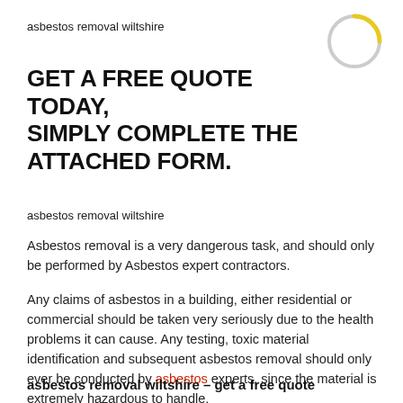asbestos removal wiltshire
[Figure (illustration): Partial circle/donut graphic in yellow and grey, top-right corner decoration]
GET A FREE QUOTE TODAY, SIMPLY COMPLETE THE ATTACHED FORM.
asbestos removal wiltshire
Asbestos removal is a very dangerous task, and should only be performed by Asbestos expert contractors.
Any claims of asbestos in a building, either residential or commercial should be taken very seriously due to the health problems it can cause. Any testing, toxic material identification and subsequent asbestos removal should only ever be conducted by asbestos experts, since the material is extremely hazardous to handle.
asbestos removal wiltshire – get a free quote